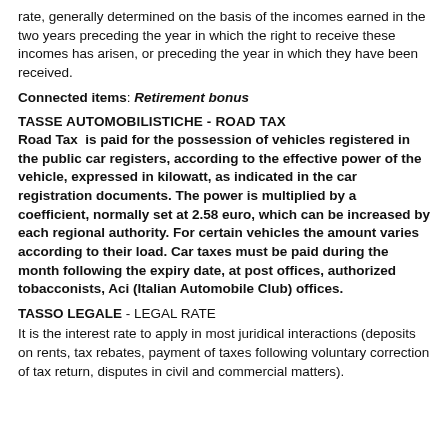rate, generally determined on the basis of the incomes earned in the two years preceding the year in which the right to receive these incomes has arisen, or preceding the year in which they have been received.
Connected items: Retirement bonus
TASSE AUTOMOBILISTICHE - ROAD TAX
Road Tax is paid for the possession of vehicles registered in the public car registers, according to the effective power of the vehicle, expressed in kilowatt, as indicated in the car registration documents. The power is multiplied by a coefficient, normally set at 2.58 euro, which can be increased by each regional authority. For certain vehicles the amount varies according to their load. Car taxes must be paid during the month following the expiry date, at post offices, authorized tobacconists, Aci (Italian Automobile Club) offices.
TASSO LEGALE - LEGAL RATE
It is the interest rate to apply in most juridical interactions (deposits on rents, tax rebates, payment of taxes following voluntary correction of tax return, disputes in civil and commercial matters).